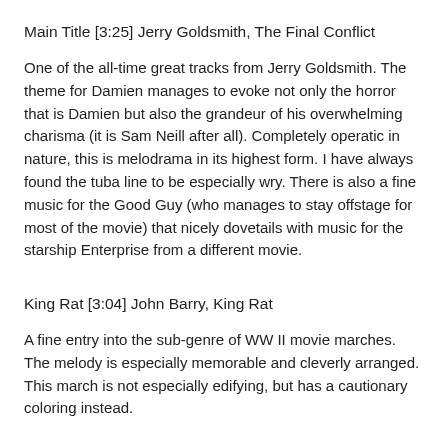Main Title [3:25] Jerry Goldsmith, The Final Conflict
One of the all-time great tracks from Jerry Goldsmith. The theme for Damien manages to evoke not only the horror that is Damien but also the grandeur of his overwhelming charisma (it is Sam Neill after all). Completely operatic in nature, this is melodrama in its highest form. I have always found the tuba line to be especially wry. There is also a fine music for the Good Guy (who manages to stay offstage for most of the movie) that nicely dovetails with music for the starship Enterprise from a different movie.
King Rat [3:04] John Barry, King Rat
A fine entry into the sub-genre of WW II movie marches. The melody is especially memorable and cleverly arranged. This march is not especially edifying, but has a cautionary coloring instead.